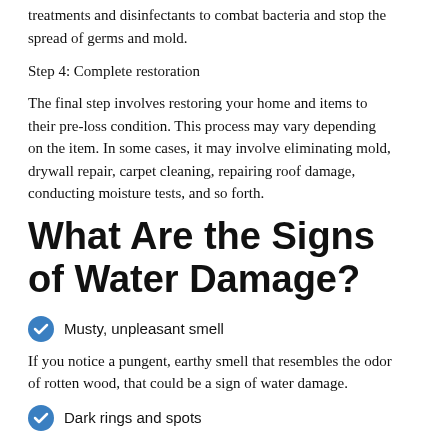treatments and disinfectants to combat bacteria and stop the spread of germs and mold.
Step 4: Complete restoration
The final step involves restoring your home and items to their pre-loss condition. This process may vary depending on the item. In some cases, it may involve eliminating mold, drywall repair, carpet cleaning, repairing roof damage, conducting moisture tests, and so forth.
What Are the Signs of Water Damage?
Musty, unpleasant smell
If you notice a pungent, earthy smell that resembles the odor of rotten wood, that could be a sign of water damage.
Dark rings and spots